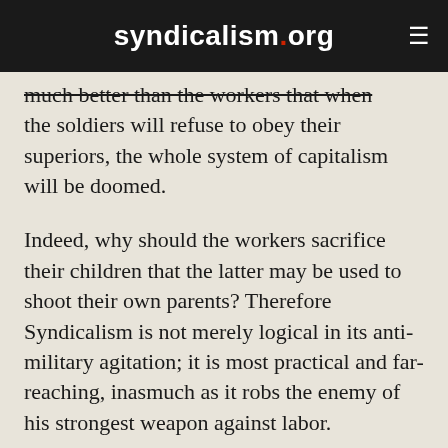syndicalism.org
much better than the workers that when the soldiers will refuse to obey their superiors, the whole system of capitalism will be doomed.
Indeed, why should the workers sacrifice their children that the latter may be used to shoot their own parents? Therefore Syndicalism is not merely logical in its anti-military agitation; it is most practical and far-reaching, inasmuch as it robs the enemy of his strongest weapon against labor.